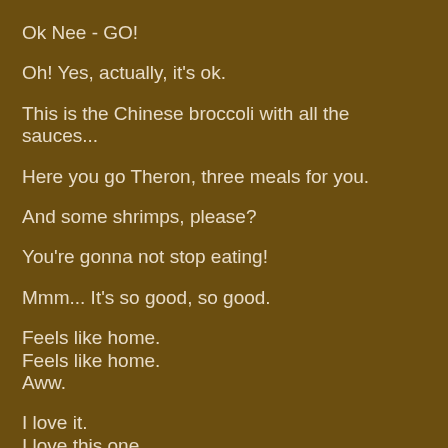Ok Nee - GO!
Oh! Yes, actually, it's ok.
This is the Chinese broccoli with all the sauces...
Here you go Theron, three meals for you.
And some shrimps, please?
You're gonna not stop eating!
Mmm... It's so good, so good.
Feels like home.
Feels like home.
Awww.
I love it.
I love this one.